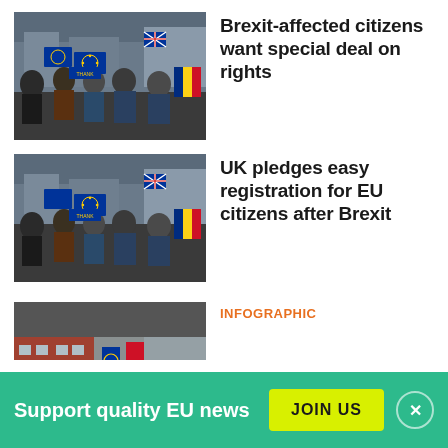[Figure (photo): Crowd of protesters marching with EU flags and signs]
Brexit-affected citizens want special deal on rights
[Figure (photo): Same crowd of protesters marching with EU flags and signs]
UK pledges easy registration for EU citizens after Brexit
[Figure (photo): Building with EU flags - partial view]
INFOGRAPHIC
Support quality EU news
JOIN US